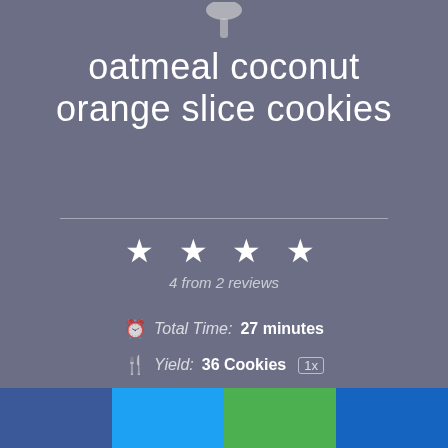[Figure (photo): Partial view of a spoon/utensil at the top of the page, partially cropped]
oatmeal coconut orange slice cookies
4 from 2 reviews
Total Time: 27 minutes
Yield: 36 Cookies 1x
PRINT RECIPE
[Figure (infographic): Social sharing bar at the bottom with four colored sections: blue (Facebook), light blue (Twitter), green (Google+), dark blue (Pinterest)]